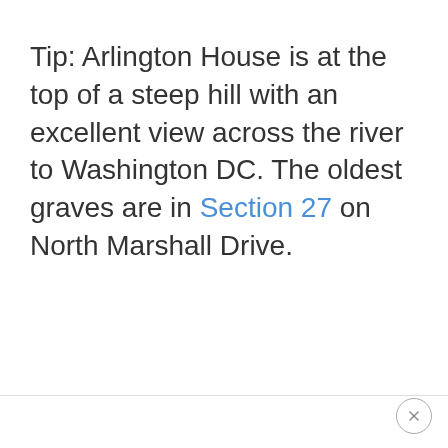Tip: Arlington House is at the top of a steep hill with an excellent view across the river to Washington DC. The oldest graves are in Section 27 on North Marshall Drive.